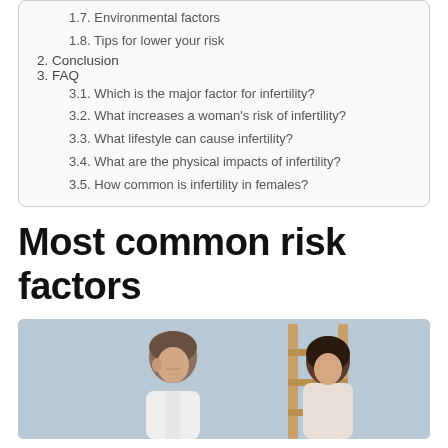1.7. Environmental factors
1.8. Tips for lower your risk
2. Conclusion
3. FAQ
3.1. Which is the major factor for infertility?
3.2. What increases a woman's risk of infertility?
3.3. What lifestyle can cause infertility?
3.4. What are the physical impacts of infertility?
3.5. How common is infertility in females?
Most common risk factors
[Figure (photo): A man and a woman sitting together, looking concerned or stressed, with a wooden ladder/shelf in the background against a light blue wall.]